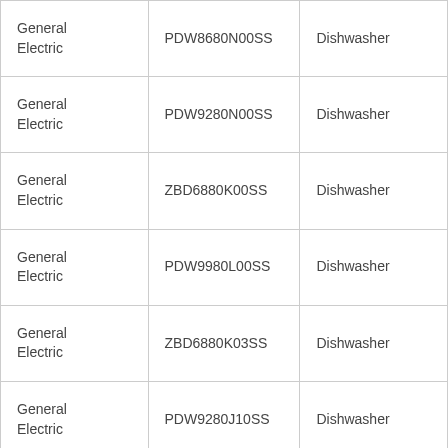| General Electric | PDW8680N00SS | Dishwasher |
| General Electric | PDW9280N00SS | Dishwasher |
| General Electric | ZBD6880K00SS | Dishwasher |
| General Electric | PDW9980L00SS | Dishwasher |
| General Electric | ZBD6880K03SS | Dishwasher |
| General Electric | PDW9280J10SS | Dishwasher |